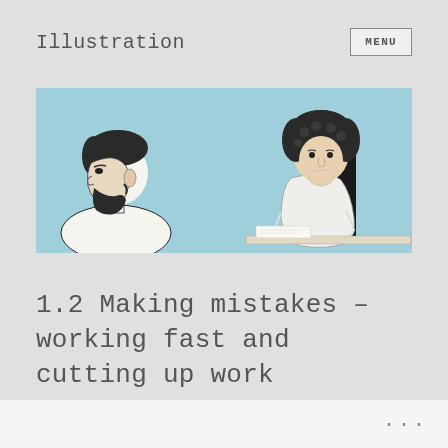Illustration
[Figure (illustration): A light blue banner illustration showing two people: on the left, a man with a beard viewed in profile facing right; on the right, a curly-haired person sitting at a desk/table, viewed from the side.]
1.2 Making mistakes – working fast and cutting up work
...